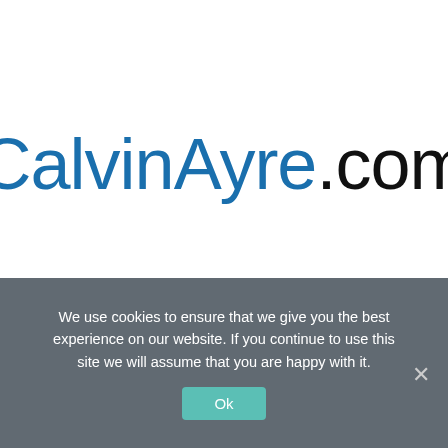[Figure (logo): CalvinAyre.com logo with 'CalvinAyre' in blue and '.com' in black]
We use cookies to ensure that we give you the best experience on our website. If you continue to use this site we will assume that you are happy with it.
Ok